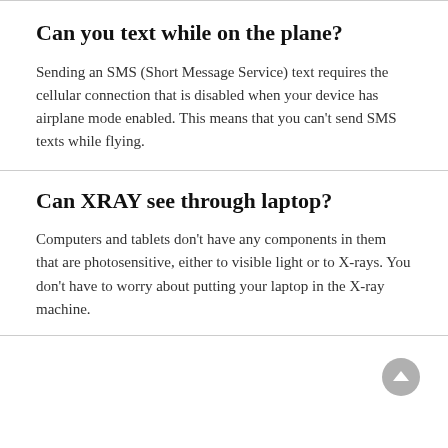Can you text while on the plane?
Sending an SMS (Short Message Service) text requires the cellular connection that is disabled when your device has airplane mode enabled. This means that you can't send SMS texts while flying.
Can XRAY see through laptop?
Computers and tablets don't have any components in them that are photosensitive, either to visible light or to X-rays. You don't have to worry about putting your laptop in the X-ray machine.